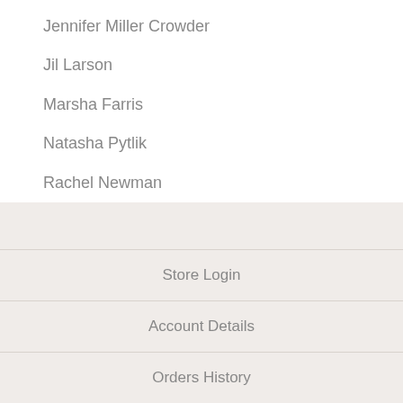Jennifer Miller Crowder
Jil Larson
Marsha Farris
Natasha Pytlik
Rachel Newman
Traci Reed
Store Login
Account Details
Orders History